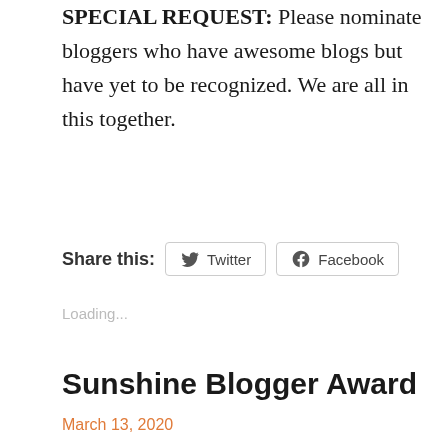SPECIAL REQUEST: Please nominate bloggers who have awesome blogs but have yet to be recognized. We are all in this together.
Share this:
Twitter
Facebook
Loading...
Sunshine Blogger Award
March 13, 2020